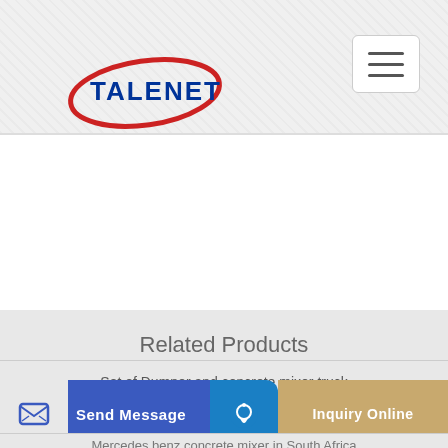[Figure (logo): Talenet company logo with blue text and red oval swoosh]
[Figure (other): Hamburger menu button (three horizontal lines) on white background]
Related Products
Set of Dumper and concrete mixer truck
china aquarius concrete plant apollo
Mercedes benz concrete mixer in South Africa
[Figure (other): Bottom bar with Send Message button (blue) and Inquiry Online button (tan/gold)]